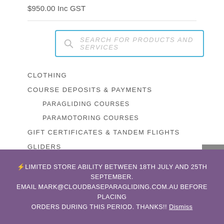$950.00 Inc GST
[Figure (other): Search bar with magnifying glass icon and placeholder text SEARCH FOR PRODUCTS AND SERVICES]
CLOTHING
COURSE DEPOSITS & PAYMENTS
PARAGLIDING COURSES
PARAMOTORING COURSES
GIFT CERTIFICATES & TANDEM FLIGHTS
GLIDERS
ENTRY, INTERMEDIATE & PERFORMANCE WINGS
MINI AND SPEED WINGS
⚡LIMITED STORE ABILITY BETWEEN 18TH JULY AND 25TH SEPTEMBER. EMAIL MARK@CLOUDBASEPARAGLIDING.COM.AU BEFORE PLACING ORDERS DURING THIS PERIOD. THANKS!! Dismiss